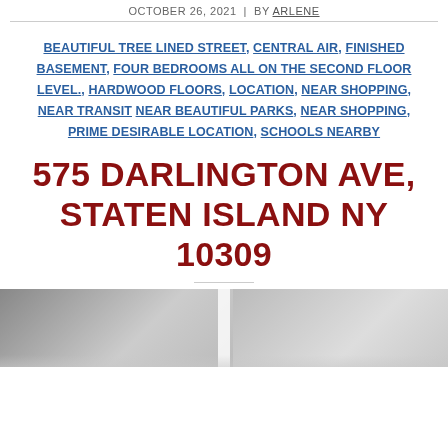OCTOBER 26, 2021  |  BY ARLENE
BEAUTIFUL TREE LINED STREET, CENTRAL AIR, FINISHED BASEMENT, FOUR BEDROOMS ALL ON THE SECOND FLOOR LEVEL., HARDWOOD FLOORS, LOCATION, NEAR SHOPPING, NEAR TRANSIT NEAR BEAUTIFUL PARKS, NEAR SHOPPING, PRIME DESIRABLE LOCATION, SCHOOLS NEARBY
575 DARLINGTON AVE, STATEN ISLAND NY 10309
[Figure (photo): Exterior photo of a house at 575 Darlington Ave, Staten Island NY 10309, shown as a cropped black and white or muted color image at the bottom of the page.]